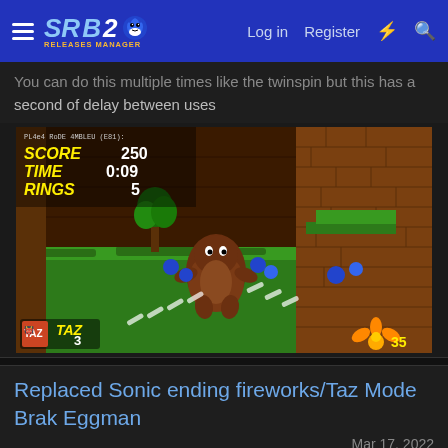SRB2 | Log in | Register
You can do this multiple times like the twinspin but this has a second of delay between uses
[Figure (screenshot): Screenshot from a 3D platformer game (SRB2) showing a green grassy level with brown brick walls, a brown monster character in center, blue enemies in background, and HUD showing SCORE 250, TIME 0:09, RINGS 5, TAZ x3, and 35 in bottom right]
Replaced Sonic ending fireworks/Taz Mode Brak Eggman
Mar 17, 2022
Spoiler: Ending